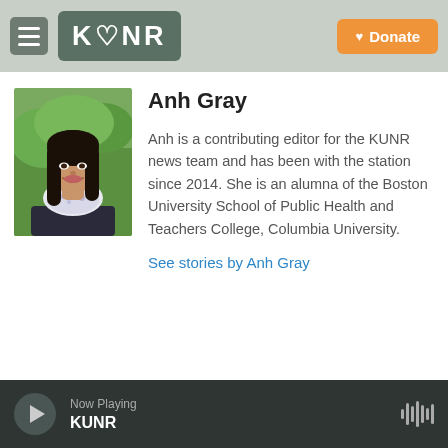KUNR | Donate
[Figure (photo): Headshot of Anh Gray, a woman with long dark hair wearing a white floral scarf and dark jacket, outdoors with greenery background]
Anh Gray
Anh is a contributing editor for the KUNR news team and has been with the station since 2014. She is an alumna of the Boston University School of Public Health and Teachers College, Columbia University.
See stories by Anh Gray
Now Playing KUNR